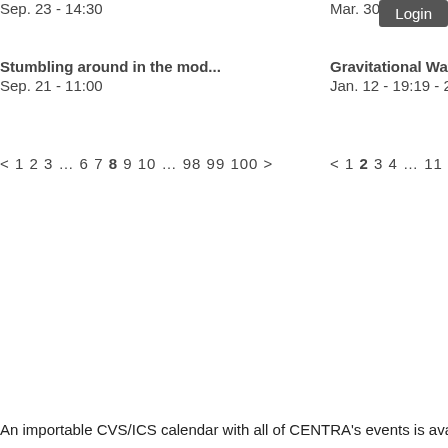Sep. 23 - 14:30
Mar. 30 - 00:34 - 2020 - 00:3…
Login
Stumbling around in the mod…
Sep. 21 - 11:00
Gravitational Waves, Black ..
Jan. 12 - 19:19 - 2020 - 19:19…
< 1 2 3 … 6 7 8 9 10 … 98 99 100 >
< 1 2 3 4 … 11 12 13 >
An importable CVS/ICS calendar with all of CENTRA's events is avail…